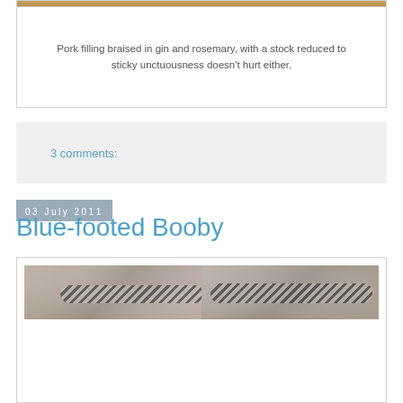[Figure (photo): Partial top image strip showing food - pork filling, brown/golden tones visible at top of frame]
Pork filling braised in gin and rosemary, with a stock reduced to sticky unctuousness doesn't hurt either.
3 comments:
03 July 2011
Blue-footed Booby
[Figure (photo): Two side-by-side photos of a Blue-footed Booby bird, showing close-up of the bird's head and striped feather patterns against a blurred brown background]